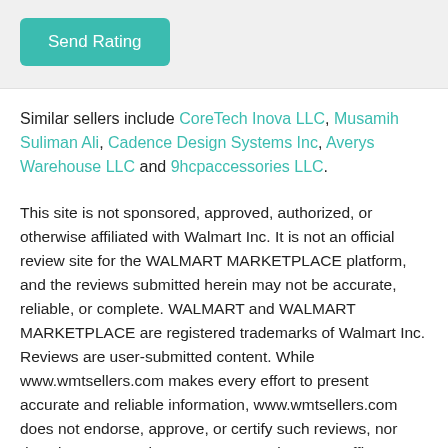[Figure (other): Send Rating button — teal/green rounded rectangle button with white text]
Similar sellers include CoreTech Inova LLC, Musamih Suliman Ali, Cadence Design Systems Inc, Averys Warehouse LLC and 9hcpaccessories LLC.
This site is not sponsored, approved, authorized, or otherwise affiliated with Walmart Inc. It is not an official review site for the WALMART MARKETPLACE platform, and the reviews submitted herein may not be accurate, reliable, or complete. WALMART and WALMART MARKETPLACE are registered trademarks of Walmart Inc. Reviews are user-submitted content. While www.wmtsellers.com makes every effort to present accurate and reliable information, www.wmtsellers.com does not endorse, approve, or certify such reviews, nor does it guarantee the accuracy, completeness, efficacy, timeliness, or